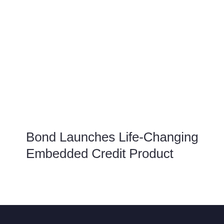Bond Launches Life-Changing Embedded Credit Product